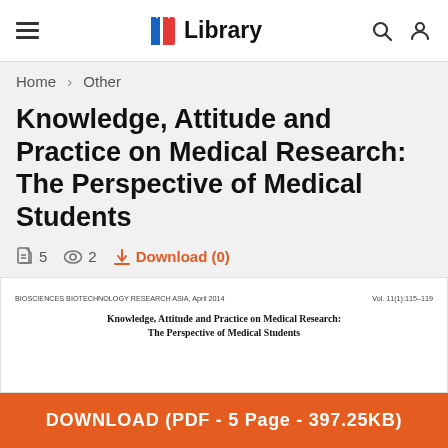Library
Home › Other
Knowledge, Attitude and Practice on Medical Research: The Perspective of Medical Students
5 pages  2 views  Download (0)
[Figure (screenshot): Preview thumbnail of the paper showing journal header 'BIOSCIENCES BIOTECHNOLOGY RESEARCH ASIA April 2014 Vol. 11(1):115–119' and the paper title 'Knowledge, Attitude and Practice on Medical Research: The Perspective of Medical Students']
DOWNLOAD (PDF - 5 Page - 397.25KB)